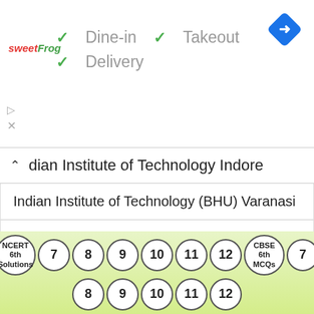[Figure (screenshot): Ad banner for sweetFrog restaurant showing Dine-in, Takeout, and Delivery options with checkmarks, and a navigation icon.]
Indian Institute of Technology Indore
Indian Institute of Technology (BHU) Varanasi
Indian Institute of Technology (Indian School of Mines)
National Institute of Technology Karnataka
Anna University
Vellore Institute of Technology
[Figure (screenshot): Bottom navigation bar with NCERT 6th Solutions, class numbers 7-12, CBSE 6th MCQs, and class 7 buttons on a green gradient background.]